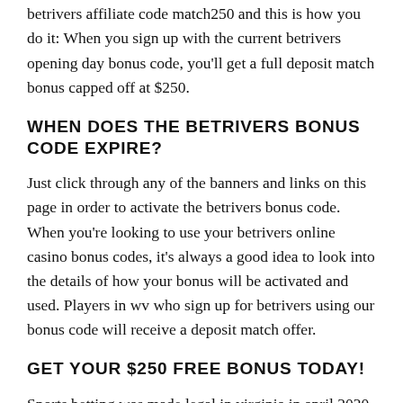100% deposit match up to $250: New players in va can claim the $250 bonus from the operator when using the betrivers affiliate code match250 and this is how you do it: When you sign up with the current betrivers opening day bonus code, you'll get a full deposit match bonus capped off at $250.
WHEN DOES THE BETRIVERS BONUS CODE EXPIRE?
Just click through any of the banners and links on this page in order to activate the betrivers bonus code. When you're looking to use your betrivers online casino bonus codes, it's always a good idea to look into the details of how your bonus will be activated and used. Players in wv who sign up for betrivers using our bonus code will receive a deposit match offer.
GET YOUR $250 FREE BONUS TODAY!
Sports betting was made legal in virginia in april 2020, but online sportsbooks did not launch in